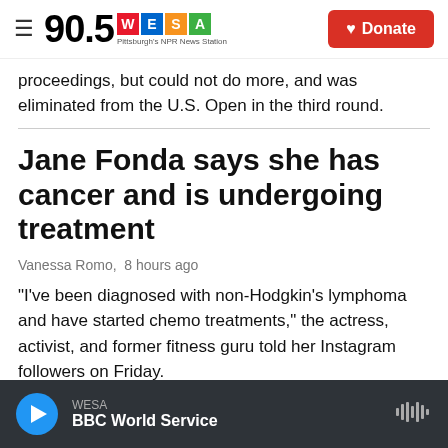90.5 WESA — Pittsburgh's NPR News Station | Donate
proceedings, but could not do more, and was eliminated from the U.S. Open in the third round.
Jane Fonda says she has cancer and is undergoing treatment
Vanessa Romo,  8 hours ago
"I've been diagnosed with non-Hodgkin's lymphoma and have started chemo treatments," the actress, activist, and former fitness guru told her Instagram followers on Friday.
WESA — BBC World Service